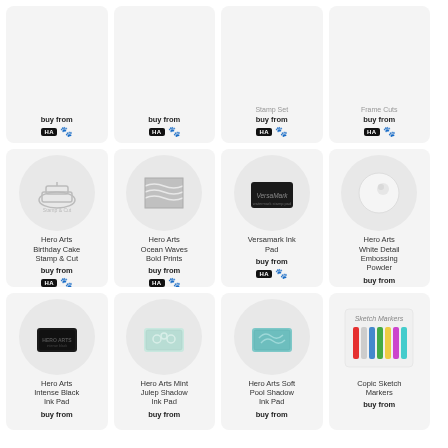buy from
buy from
Stamp Set - buy from
Frame Cuts - buy from
Hero Arts Birthday Cake Stamp & Cut
buy from
Hero Arts Ocean Waves Bold Prints
buy from
Versamark Ink Pad
buy from
Hero Arts White Detail Embossing Powder
buy from
Hero Arts Intense Black Ink Pad
buy from
Hero Arts Mint Julep Shadow Ink Pad
buy from
Hero Arts Soft Pool Shadow Ink Pad
buy from
Copic Sketch Markers
buy from